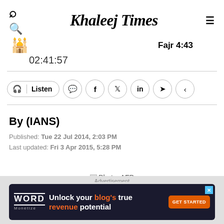Khaleej Times
Fajr 4:43
02:41:57
Listen
By (IANS)
Published: Tue 22 Jul 2014, 2:03 PM
Last updated: Fri 3 Apr 2015, 5:28 PM
[Figure (photo): Photo: AFP - broken image placeholder]
Advertisement
[Figure (infographic): Advertisement banner: Word Monetize - Unlock your blog's true revenue potential - GET STARTED button]